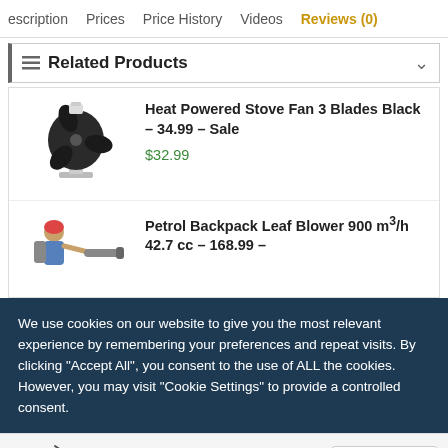escription   Prices   Price History   Videos   Reviews (0)
Related Products
Heat Powered Stove Fan 3 Blades Black – 34.99 – Sale
$32.99
Petrol Backpack Leaf Blower 900 m³/h 42.7 cc – 168.99 –
We use cookies on our website to give you the most relevant experience by remembering your preferences and repeat visits. By clicking "Accept All", you consent to the use of ALL the cookies. However, you may visit "Cookie Settings" to provide a controlled consent.
$132.42
[Figure (logo): TrustedSite certified secure badge]